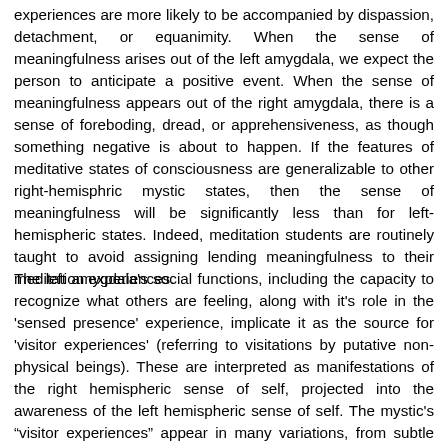experiences are more likely to be accompanied by dispassion, detachment, or equanimity. When the sense of meaningfulness arises out of the left amygdala, we expect the person to anticipate a positive event. When the sense of meaningfulness appears out of the right amygdala, there is a sense of foreboding, dread, or apprehensiveness, as though something negative is about to happen. If the features of meditative states of consciousness are generalizable to other right-hemisphric mystic states, then the sense of meaningfulness will be significantly less than for left-hemispheric states. Indeed, meditation students are routinely taught to avoid assigning lending meaningfulness to their meditation experiences.
The left amygdala's social functions, including the capacity to recognize what others are feeling, along with it's role in the 'sensed presence' experience, implicate it as the source for 'visitor experiences' (referring to visitations by putative non-physical beings). These are interpreted as manifestations of the right hemispheric sense of self, projected into the awareness of the left hemispheric sense of self. The mystic's "visitor experiences" appear in many variations, from subtle (sensed presence) to compelling (angels and deities), and